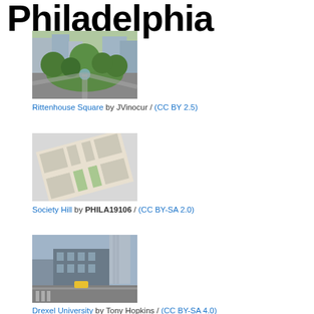Philadelphia
[Figure (photo): Rittenhouse Square park photo with fountain and trees, urban park setting]
Rittenhouse Square by JVinocur / (CC BY 2.5)
[Figure (map): Society Hill aerial map/plan view showing city blocks and green square]
Society Hill by PHILA19106 / (CC BY-SA 2.0)
[Figure (photo): Drexel University street view photo showing urban university buildings]
Drexel University by Tony Hopkins / (CC BY-SA 4.0)